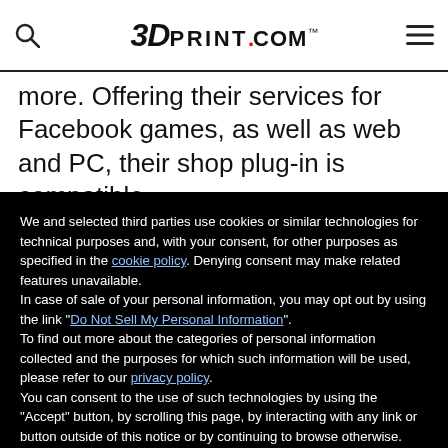3DPrint.com™
more. Offering their services for Facebook games, as well as web and PC, their shop plug-in is compatible
We and selected third parties use cookies or similar technologies for technical purposes and, with your consent, for other purposes as specified in the cookie policy. Denying consent may make related features unavailable.
In case of sale of your personal information, you may opt out by using the link "Do Not Sell My Personal Information".
To find out more about the categories of personal information collected and the purposes for which such information will be used, please refer to our privacy policy.
You can consent to the use of such technologies by using the "Accept" button, by scrolling this page, by interacting with any link or button outside of this notice or by continuing to browse otherwise.
Reject
Accept
Learn more and customize